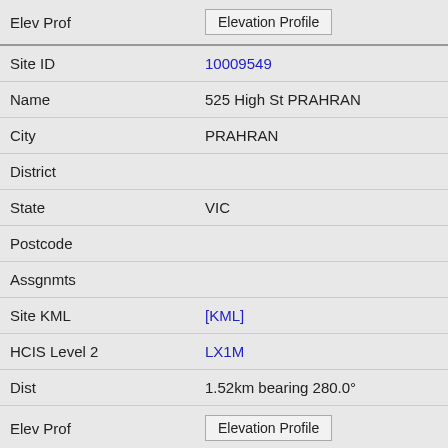| Field | Value |
| --- | --- |
| Elev Prof | Elevation Profile |
| Site ID | 10009549 |
| Name | 525 High St PRAHRAN |
| City | PRAHRAN |
| District |  |
| State | VIC |
| Postcode |  |
| Assgnmts |  |
| Site KML | [KML] |
| HCIS Level 2 | LX1M |
| Dist | 1.52km bearing 280.0° |
| Elev Prof | Elevation Profile |
| Site ID | 9000326 |
| Name | 1355 High St MALVERN |
| City | MALVERN |
| District |  |
| State | VIC |